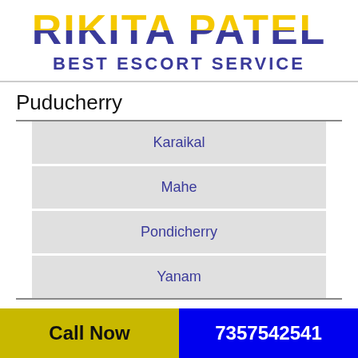RIKITA PATEL BEST ESCORT SERVICE
Puducherry
Karaikal
Mahe
Pondicherry
Yanam
Punjab
Call Now  7357542541